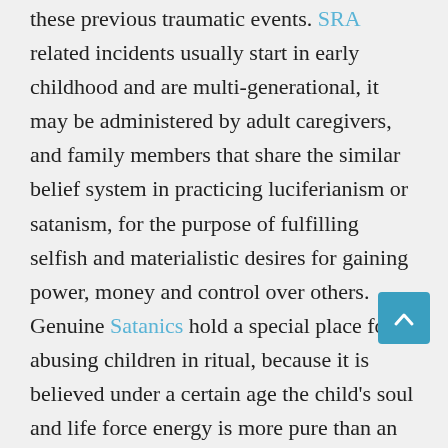these previous traumatic events. SRA related incidents usually start in early childhood and are multi-generational, it may be administered by adult caregivers, and family members that share the similar belief system in practicing luciferianism or satanism, for the purpose of fulfilling selfish and materialistic desires for gaining power, money and control over others. Genuine Satanics hold a special place for abusing children in ritual, because it is believed under a certain age the child's soul and life force energy is more pure than an adult. Satanists thus must lie and deceive others about their practices, and it remains a well guarded secret hidden from the general public.
Supporters of the Satanic Temple tend to be atheists and non-experiencers that completely